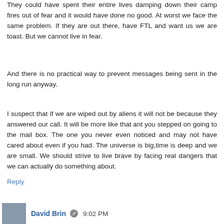They could have spent their entire lives damping down their camp fires out of fear and it would have done no good. At worst we face the same problem. If they are out there, have FTL and want us we are toast. But we cannot live in fear.
And there is no practical way to prevent messages being sent in the long run anyway.
I suspect that if we are wiped out by aliens it will not be because they answered our call. It will be more like that ant you stepped on going to the mail box. The one you never even noticed and may not have cared about even if you had. The universe is big,time is deep and we are small. We should strive to live brave by facing real dangers that we can actually do something about.
Reply
David Brin  9:02 PM